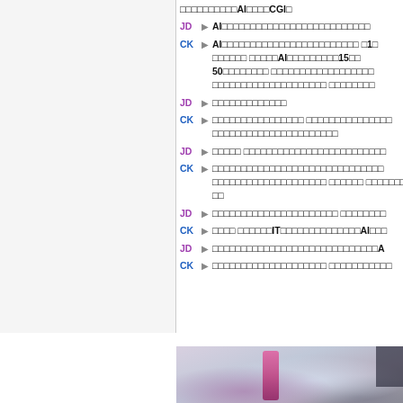AIとCGI
JD ▶ AI（対話テキスト内容が判読不能）
CK ▶ AI（対話テキスト内容が判読不能）1  15 50
JD ▶ （テキスト判読不能）
CK ▶ （テキスト判読不能）
JD ▶ （テキスト判読不能）
CK ▶ （テキスト判読不能）
JD ▶ （テキスト判読不能）
CK ▶ IT AI（テキスト判読不能）
JD ▶ A（テキスト判読不能）
CK ▶ （テキスト判読不能）
[Figure (photo): Blurred photograph showing indistinct figures, pink/magenta accent element, dark element at right, blue-grey tones throughout]